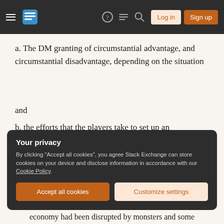Stack Exchange navigation bar with hamburger menu, logo, help, chat, search, Log in, Sign up buttons
a. The DM granting of circumstantial advantage, and circumstantial disadvantage, depending on the situation
and
b. the efforts that the players take to set up an advantageous result, or if they are careless as they make an attempt at a social encounter (examples at the end)
has expanded how players at our table engage in
Your privacy
By clicking "Accept all cookies", you agree Stack Exchange can store cookies on your device and disclose information in accordance with our Cookie Policy.
economy had been disrupted by monsters and some